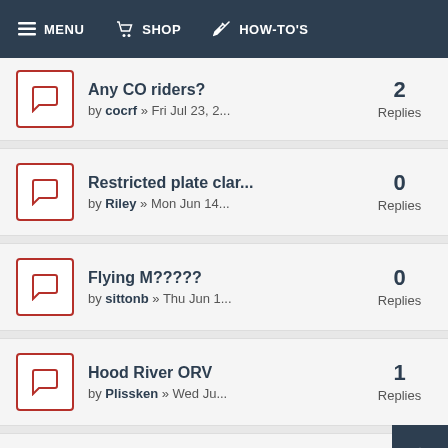MENU  SHOP  HOW-TO'S
Any CO riders? by cocrf » Fri Jul 23, 2... 2 Replies
Restricted plate clar... by Riley » Mon Jun 14... 0 Replies
Flying M????? by sittonb » Thu Jun 1... 0 Replies
Hood River ORV by Plissken » Wed Ju... 1 Replies
Dual Sport setup in ... 4